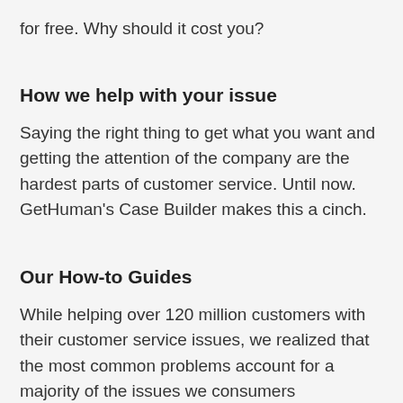for free. Why should it cost you?
How we help with your issue
Saying the right thing to get what you want and getting the attention of the company are the hardest parts of customer service. Until now. GetHuman's Case Builder makes this a cinch.
Our How-to Guides
While helping over 120 million customers with their customer service issues, we realized that the most common problems account for a majority of the issues we consumers experience. So we started writing free step by step manuals that tell you what to